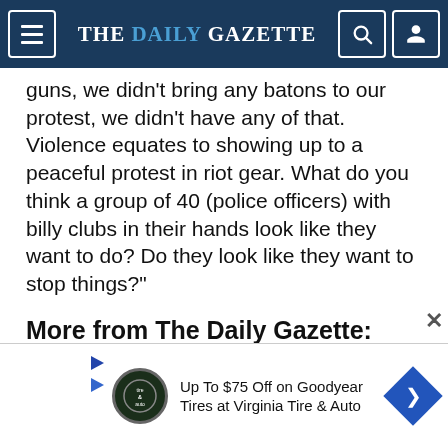THE DAILY GAZETTE
guns, we didn’t bring any batons to our protest, we didn’t have any of that. Violence equates to showing up to a peaceful protest in riot gear. What do you think a group of 40 (police officers) with billy clubs in their hands look like they want to do? Do they look like they want to stop things?”
More from The Daily Gazette:
[Figure (photo): Two people, a woman and a man, appear to be speaking or presenting]
[Figure (photo): A person near a blue vehicle in what appears to be an industrial or warehouse setting]
[Figure (advertisement): Ad for Virginia Tire & Auto: Up To $75 Off on Goodyear Tires at Virginia Tire & Auto]